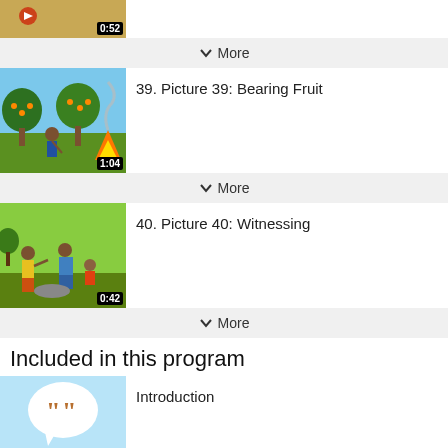[Figure (screenshot): Partial video thumbnail showing illustration, duration 0:52]
✓ More
[Figure (screenshot): Video thumbnail: Bearing Fruit illustration with trees and fire, duration 1:04]
39. Picture 39: Bearing Fruit
✓ More
[Figure (screenshot): Video thumbnail: Witnessing illustration with people sitting, duration 0:42]
40. Picture 40: Witnessing
✓ More
Included in this program
[Figure (illustration): Blue speech bubble icon with quotation marks on light blue background]
Introduction
✓ More
Downloads and Ordering